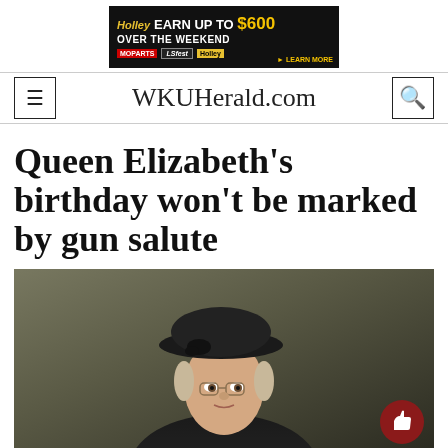[Figure (other): Holley advertisement banner: 'EARN UP TO $600 OVER THE WEEKEND' with red background, car images, and Learn More button]
WKUHerald.com
Queen Elizabeth's birthday won't be marked by gun salute
[Figure (photo): Photo of Queen Elizabeth II wearing a black hat and dark clothing, looking serious, against a blurred background. A red thumbs-up like button is overlaid in the bottom right corner.]